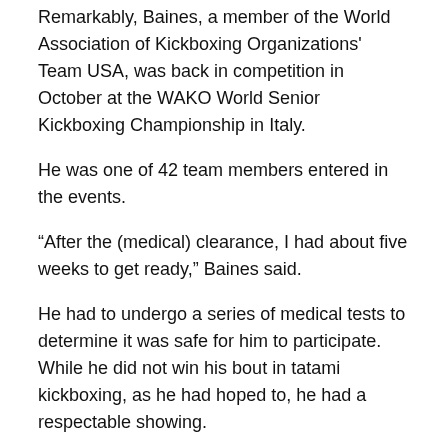Remarkably, Baines, a member of the World Association of Kickboxing Organizations' Team USA, was back in competition in October at the WAKO World Senior Kickboxing Championship in Italy.
He was one of 42 team members entered in the events.
“After the (medical) clearance, I had about five weeks to get ready,” Baines said.
He had to undergo a series of medical tests to determine it was safe for him to participate. While he did not win his bout in tatami kickboxing, as he had hoped to, he had a respectable showing.
“It was really, really close,” he said, adding, “It was just great to be back in the ring.”